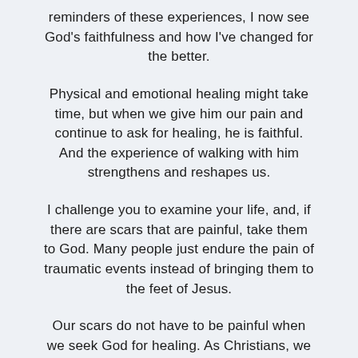reminders of these experiences, I now see God's faithfulness and how I've changed for the better.
Physical and emotional healing might take time, but when we give him our pain and continue to ask for healing, he is faithful. And the experience of walking with him strengthens and reshapes us.
I challenge you to examine your life, and, if there are scars that are painful, take them to God. Many people just endure the pain of traumatic events instead of bringing them to the feet of Jesus.
Our scars do not have to be painful when we seek God for healing. As Christians, we are not exempt from life's difficulties; we just have a better way of dealing with them and a savior